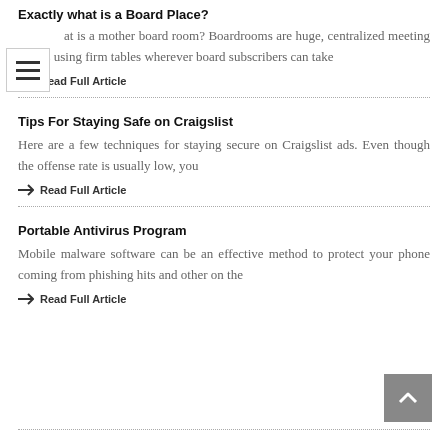Exactly what is a Board Place?
at is a mother board room? Boardrooms are huge, centralized meeting rooms using firm tables wherever board subscribers can take
Read Full Article
Tips For Staying Safe on Craigslist
Here are a few techniques for staying secure on Craigslist ads. Even though the offense rate is usually low, you
Read Full Article
Portable Antivirus Program
Mobile malware software can be an effective method to protect your phone coming from phishing hits and other on the
Read Full Article